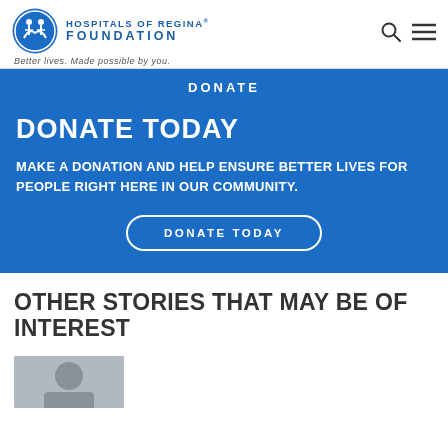[Figure (logo): Hospitals of Regina Foundation logo with circular emblem and text]
Better lives. Made possible by you.
DONATE
DONATE TODAY
MAKE A DONATION AND HELP ENSURE BETTER LIVES FOR PEOPLE RIGHT HERE IN OUR COMMUNITY.
DONATE TODAY
OTHER STORIES THAT MAY BE OF INTEREST
[Figure (photo): Partial thumbnail image at bottom of page]